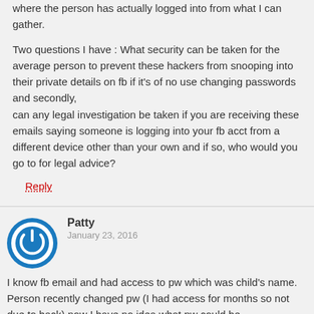where the person has actually logged into from what I can gather.
Two questions I have : What security can be taken for the average person to prevent these hackers from snooping into their private details on fb if it's of no use changing passwords and secondly, can any legal investigation be taken if you are receiving these emails saying someone is logging into your fb acct from a different device other than your own and if so, who would you go to for legal advice?
Reply
Patty
January 23, 2016
I know fb email and had access to pw which was child's name. Person recently changed pw (I had access for months so not due to hack) now I have no idea what pw could be.
What do I do? Don't want to change pw.
Reply
Jon doe
February 2, 2016